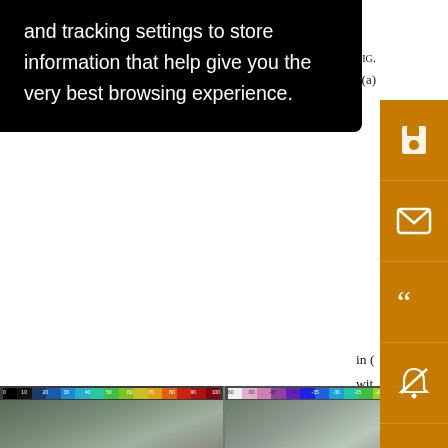and tracking settings to store information that help give you the very best browsing experience.
Fig. (a)
in ( with con CT( mi
[Figure (screenshot): Two satellite imagery panels side by side at the bottom of the page, each with a color scale bar at the top showing values from approximately 0 to 100 (left panel) and negative values (right panel). The imagery shows cloud or terrain features in grey tones.]